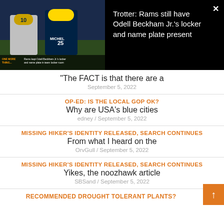[Figure (screenshot): Video thumbnail showing two LA Rams football players in blue and gold uniforms, with caption text overlay about Odell Beckham Jr.'s locker]
Trotter: Rams still have Odell Beckham Jr.'s locker and name plate present
"The FACT is that there are a
September 5, 2022
OP-ED: IS THE LOCAL GOP OK?
Why are USA's blue cities
edney / September 5, 2022
MISSING HIKER'S IDENTITY RELEASED, SEARCH CONTINUES
From what I heard on the
OrvGull / September 5, 2022
MISSING HIKER'S IDENTITY RELEASED, SEARCH CONTINUES
Yikes, the noozhawk article
SBSand / September 5, 2022
RECOMMENDED DROUGHT TOLERANT PLANTS?